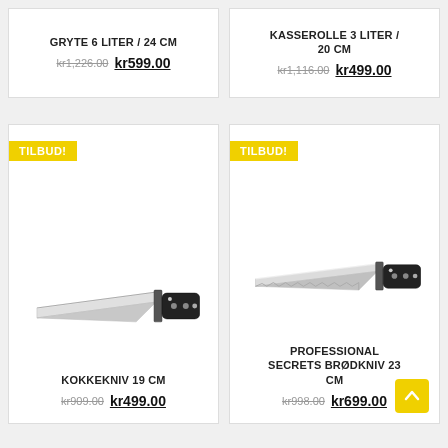GRYTE 6 LITER / 24 CM
kr1,226.00 kr599.00
KASSEROLLE 3 LITER / 20 CM
kr1,116.00 kr499.00
[Figure (photo): Chef's knife with black handle - Kokkekniv 19 cm]
TILBUD!
KOKKEKNIV 19 CM
kr909.00 kr499.00
[Figure (photo): Bread knife with black handle - Professional Secrets Brødkniv 23 cm]
TILBUD!
PROFESSIONAL SECRETS BRØDKNIV 23 CM
kr998.00 kr699.00